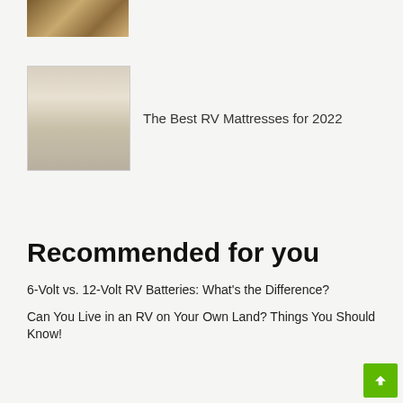[Figure (photo): Partial view of an RV interior showing a device mounted on a wooden cabinet wall]
[Figure (photo): RV mattress interior view showing a bed with cream/beige mattresses in a narrow sleeping area]
The Best RV Mattresses for 2022
Recommended for you
6-Volt vs. 12-Volt RV Batteries: What's the Difference?
Can You Live in an RV on Your Own Land? Things You Should Know!